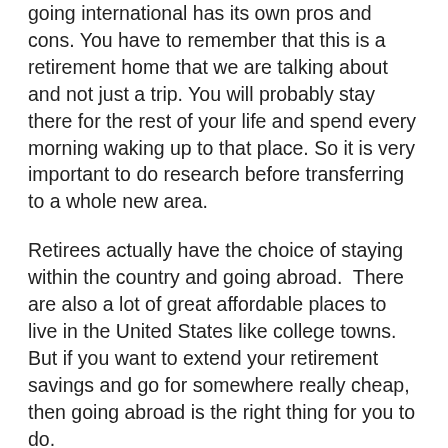going international has its own pros and cons. You have to remember that this is a retirement home that we are talking about and not just a trip. You will probably stay there for the rest of your life and spend every morning waking up to that place. So it is very important to do research before transferring to a whole new area.
Retirees actually have the choice of staying within the country and going abroad.  There are also a lot of great affordable places to live in the United States like college towns. But if you want to extend your retirement savings and go for somewhere really cheap, then going abroad is the right thing for you to do.
If you want to stay closer to the US and your children and grandchildren, you can choose Mexico. Mexico is a great place to choose if you want easy access back to the United States. There are also a lot of